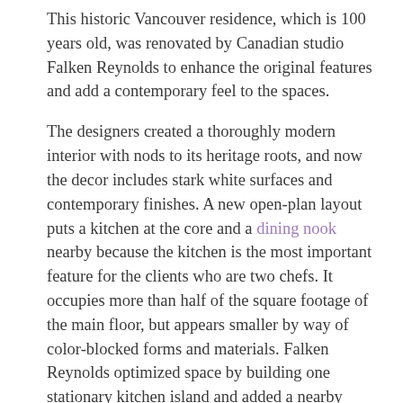This historic Vancouver residence, which is 100 years old, was renovated by Canadian studio Falken Reynolds to enhance the original features and add a contemporary feel to the spaces.
The designers created a thoroughly modern interior with nods to its heritage roots, and now the decor includes stark white surfaces and contemporary finishes. A new open-plan layout puts a kitchen at the core and a dining nook nearby because the kitchen is the most important feature for the clients who are two chefs. It occupies more than half of the square footage of the main floor, but appears smaller by way of color-blocked forms and materials. Falken Reynolds optimized space by building one stationary kitchen island and added a nearby dining table at the same height. Supported on industrial caster wheels, the table can be moved easily to make space when necessary. The fixed island incorporates electrical and mechanical systems, while the movable element can also make way for an extended surface for larger dinner parties. The result was a space for two chefs to work their magic in the kitchen and then